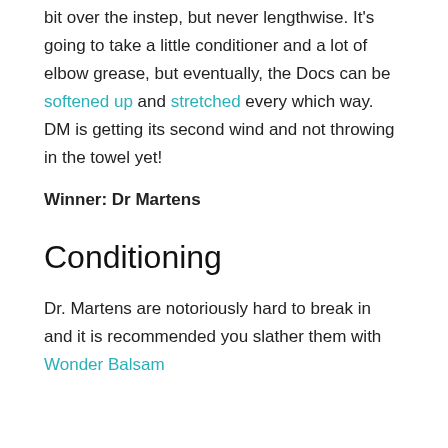bit over the instep, but never lengthwise. It's going to take a little conditioner and a lot of elbow grease, but eventually, the Docs can be softened up and stretched every which way. DM is getting its second wind and not throwing in the towel yet!
Winner: Dr Martens
Conditioning
Dr. Martens are notoriously hard to break in and it is recommended you slather them with Wonder Balsam